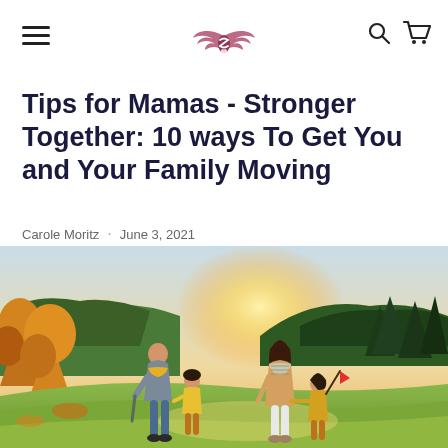[Logo: stylized winged S symbol] [hamburger menu] [search icon] [cart icon]
Tips for Mamas - Stronger Together: 10 ways To Get You and Your Family Moving
Carole Moritz · June 3, 2021
[Figure (photo): A happy family of four — father, mother, and two young daughters — walking outdoors in an autumn countryside setting with golden sunlight, colorful trees and rolling hills in the background.]